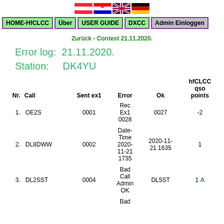[Figure (illustration): Row of four country flag icons: Austria, Croatia, United Kingdom, Germany]
HOME-HfCLCC | Über | USER GUIDE | DXCC | Admin Einloggen
Zurück - Contest 21.11.2020.
Error log: 21.11.2020.
Station:    DK4YU
| Nr. | Call | Sent ex1 | Error | Ok | hfCLCC qso points |
| --- | --- | --- | --- | --- | --- |
| 1. | OE2S | 0001 | Rec Ex1 0028 | 0027 | -2 |
| 2. | DL8DWW | 0002 | Date-Time 2020-11-21 1735 | 2020-11-21 1635 | 1 |
| 3. | DL2SST | 0004 | Bad Call Admin OK | DL5ST | 1 A |